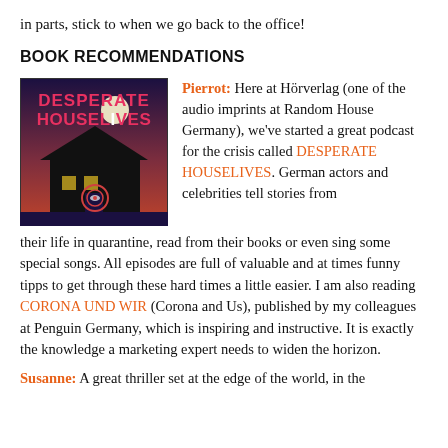in parts, stick to when we go back to the office!
BOOK RECOMMENDATIONS
[Figure (illustration): Book/podcast cover art for 'Desperate Houselives' — dark background with silhouette of a house, moon, and colorful text]
Pierrot: Here at Hörverlag (one of the audio imprints at Random House Germany), we've started a great podcast for the crisis called DESPERATE HOUSELIVES. German actors and celebrities tell stories from their life in quarantine, read from their books or even sing some special songs. All episodes are full of valuable and at times funny tipps to get through these hard times a little easier. I am also reading CORONA UND WIR (Corona and Us), published by my colleagues at Penguin Germany, which is inspiring and instructive. It is exactly the knowledge a marketing expert needs to widen the horizon.
Susanne: A great thriller set at the edge of the world, in the